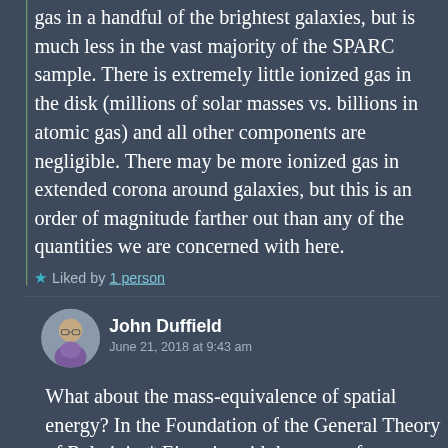gas in a handful of the brightest galaxies, but is much less in the vast majority of the SPARC sample. There is extremely little ionized gas in the disk (millions of solar masses vs. billions in atomic gas) and all other components are negligible. There may be more ionized gas in extended corona around galaxies, but this is an order of magnitude farther out than any of the quantities we are concerned with here.
Liked by 1 person
John Duffield
June 21, 2018 at 9:43 am
What about the mass-equivalence of spatial energy? In the Foundation of the General Theory of Relativity* Einstein said the mass of a...